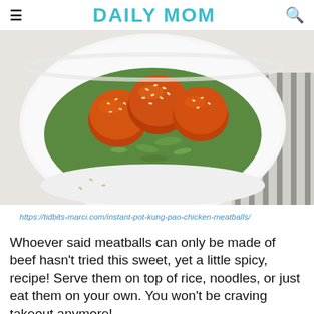DAILY MOM
[Figure (photo): A white bowl filled with glazed chicken meatballs topped with sesame seeds and peanuts, served over green rice, with a striped cloth napkin in the background.]
https://tidbits-marci.com/instant-pot-kung-pao-chicken-meatballs/
Whoever said meatballs can only be made of beef hasn't tried this sweet, yet a little spicy, recipe! Serve them on top of rice, noodles, or just eat them on your own. You won't be craving takeout anymore!